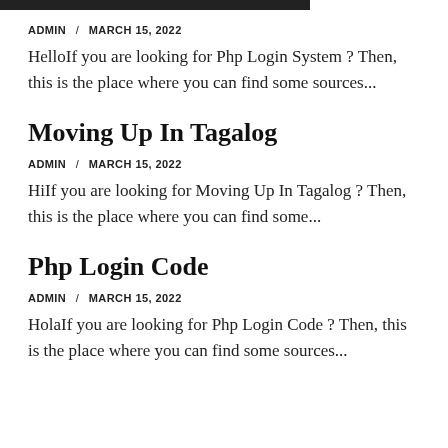ADMIN / MARCH 15, 2022
HelloIf you are looking for Php Login System ? Then, this is the place where you can find some sources...
Moving Up In Tagalog
ADMIN / MARCH 15, 2022
HiIf you are looking for Moving Up In Tagalog ? Then, this is the place where you can find some...
Php Login Code
ADMIN / MARCH 15, 2022
HolaIf you are looking for Php Login Code ? Then, this is the place where you can find some sources...